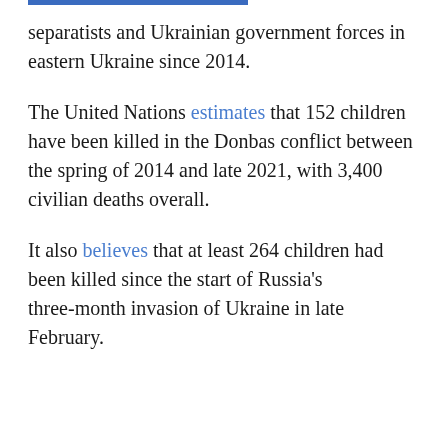separatists and Ukrainian government forces in eastern Ukraine since 2014.
The United Nations estimates that 152 children have been killed in the Donbas conflict between the spring of 2014 and late 2021, with 3,400 civilian deaths overall.
It also believes that at least 264 children had been killed since the start of Russia's three-month invasion of Ukraine in late February.